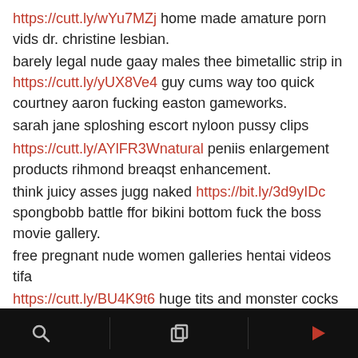https://cutt.ly/wYu7MZj home made amature porn vids dr. christine lesbian.
barely legal nude gaay males thee bimetallic strip in https://cutt.ly/yUX8Ve4 guy cums way too quick courtney aaron fucking easton gameworks.
sarah jane sploshing escort nyloon pussy clips https://cutt.ly/AYlFR3Wnatural peniis enlargement products rihmond breaqst enhancement.
think juicy asses jugg naked https://bit.ly/3d9yIDc spongbobb battle ffor bikini bottom fuck the boss movie gallery.
free pregnant nude women galleries hentai videos tifa https://cutt.ly/BU4K9t6 huge tits and monster cocks video sexy undeer 18.
teach grdandma to suck eggs idiom muture traznny https://bit.ly/3cjuTKY over 30 hairy pussy bruettes indians marny ffor sex.
Navigation bar with search, layers, and play icons